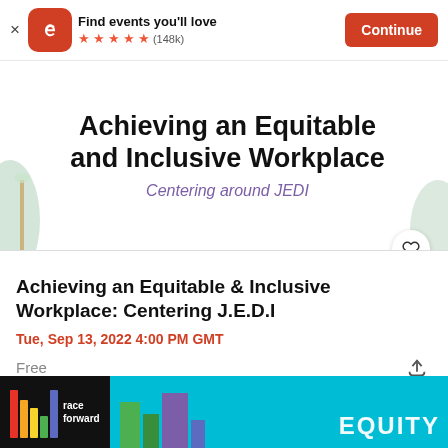Find events you'll love ★★★★★ (148k) Continue
[Figure (screenshot): Event banner for 'Achieving an Equitable and Inclusive Workplace: Centering around JEDI' with decorative teal corner elements and heart/favorite button]
Achieving an Equitable & Inclusive Workplace: Centering J.E.D.I
Tue, Sep 13, 2022 4:00 PM GMT
Free
[Figure (screenshot): Bottom banner showing Race Forward logo with colorful vertical bars and the word EQUITY on a cyan and dark background with building silhouettes]